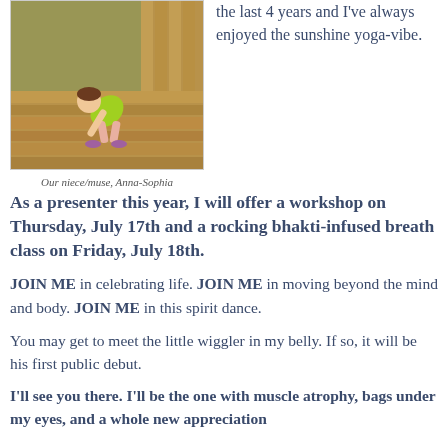[Figure (photo): Young child in green top bending over on wooden deck/playground structure]
Our niece/muse, Anna-Sophia
the last 4 years and I've always enjoyed the sunshine yoga-vibe.
As a presenter this year, I will offer a workshop on Thursday, July 17th and a rocking bhakti-infused breath class on Friday, July 18th.
JOIN ME in celebrating life. JOIN ME in moving beyond the mind and body. JOIN ME in this spirit dance.
You may get to meet the little wiggler in my belly. If so, it will be his first public debut.
I'll see you there. I'll be the one with muscle atrophy, bags under my eyes, and a whole new appreciation